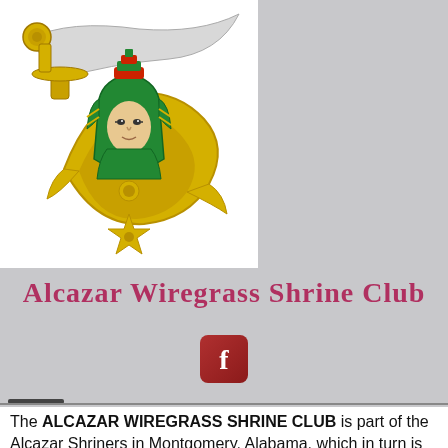[Figure (logo): Shriners International emblem/logo featuring a scimitar sword, crescent moon with a sphinx face, and a five-pointed star, in gold and green colors]
Alcazar Wiregrass Shrine Club
[Figure (logo): Facebook logo icon - red/maroon rounded square with white 'f']
[Figure (other): Hamburger menu icon with three horizontal lines]
The ALCAZAR WIREGRASS SHRINE CLUB is part of the Alcazar Shriners in Montgomery, Alabama, which in turn is part of Shriner's International.
The Club programs are funded by hosting a Bingo Program once